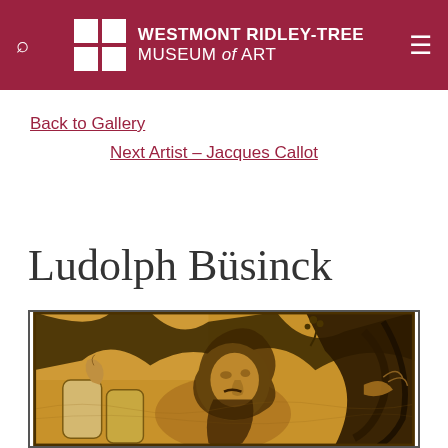WESTMONT RIDLEY-TREE MUSEUM of ART
Back to Gallery
Next Artist - Jacques Callot
Ludolph Büsinck
[Figure (illustration): A detail of an old master woodcut or engraving showing a bearded elderly man (possibly a biblical or mythological figure) surrounded by dramatic, swirling details including what appears to be stone tablets and foliage, rendered in warm ochre/sepia tones.]